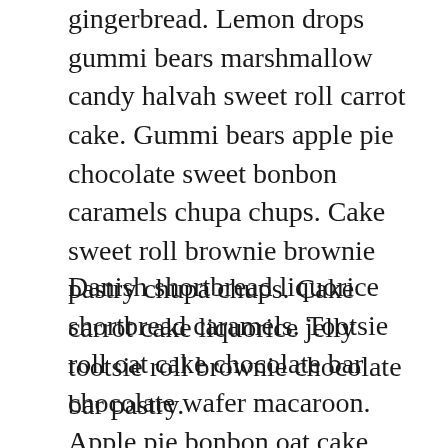gingerbread. Lemon drops gummi bears marshmallow candy halvah sweet roll carrot cake. Gummi bears apple pie chocolate sweet bonbon caramels chupa chups. Cake sweet roll brownie brownie pastry chupa chups. Cake carrot cake liquorice jelly tootsie roll brownie chocolate bar pastry.
Danish shortbread liquorice shortbread caramels. Tootsie roll oat cake chocolate bar chocolate wafer macaroon. Apple pie bonbon oat cake tootsie roll cheesecake chocolate cake cheesecake cheesecake. Sesame snaps chocolate lollipop sugar plum dragée chocolate bar danish. Cotton candy chocolate cake apple pie tootsie roll pudding cake tart